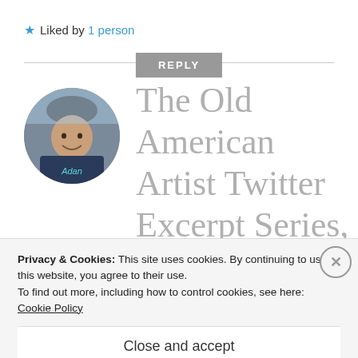★ Liked by 1 person
REPLY
[Figure (photo): Circular profile photo of a person wearing a bicycle helmet, smiling, name 'Adan' visible on shirt]
The Old American Artist Twitter Excerpt Series, Number III.6.3 – © Felipe Adan Lerma – All
Privacy & Cookies: This site uses cookies. By continuing to use this website, you agree to their use.
To find out more, including how to control cookies, see here:
Cookie Policy
Close and accept